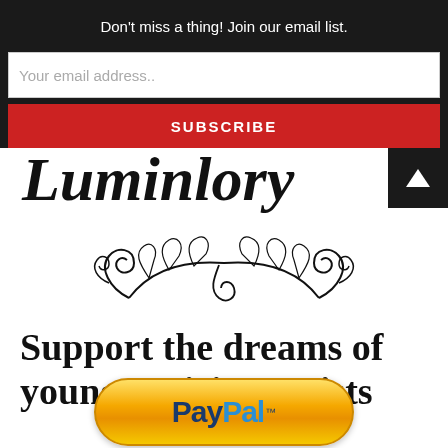Don't miss a thing! Join our email list.
Your email address..
SUBSCRIBE
[Figure (logo): Partially visible cursive/script logo text reading 'Luminlory' or similar, in black italic script font, partially cut off at top]
[Figure (illustration): Decorative black scrollwork/flourish ornament, symmetrical swirling vines and leaves]
Support the dreams of young aspiring artists
[Figure (logo): PayPal button with gold/yellow rounded rectangle background, blue PayPal text with trademark symbol]